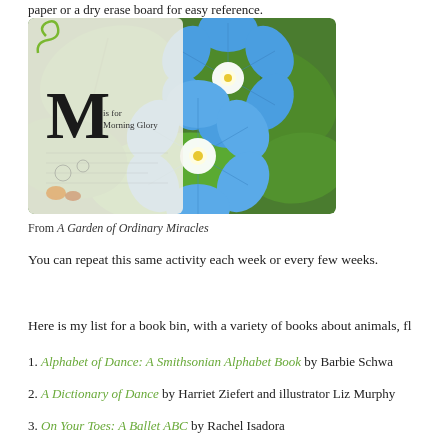paper or a dry erase board for easy reference.
[Figure (photo): Book cover showing blue morning glory flowers and the text 'M is for Morning Glory', from the book A Garden of Ordinary Miracles]
From A Garden of Ordinary Miracles
You can repeat this same activity each week or every few weeks.
Here is my list for a book bin, with a variety of books about animals, fl
1. Alphabet of Dance: A Smithsonian Alphabet Book by Barbie Schwa
2. A Dictionary of Dance by Harriet Ziefert and illustrator Liz Murphy
3. On Your Toes: A Ballet ABC by Rachel Isadora